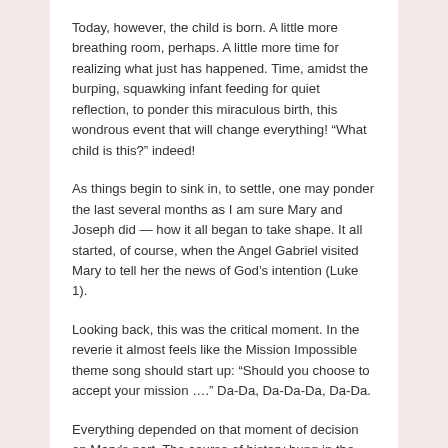Today, however, the child is born. A little more breathing room, perhaps. A little more time for realizing what just has happened. Time, amidst the burping, squawking infant feeding for quiet reflection, to ponder this miraculous birth, this wondrous event that will change everything! “What child is this?” indeed!
As things begin to sink in, to settle, one may ponder the last several months as I am sure Mary and Joseph did — how it all began to take shape. It all started, of course, when the Angel Gabriel visited Mary to tell her the news of God’s intention (Luke 1).
Looking back, this was the critical moment. In the reverie it almost feels like the Mission Impossible theme song should start up: “Should you choose to accept your mission ….” Da-Da, Da-Da-Da, Da-Da.
Everything depended on that moment of decision on Mary's part. The course of history hung in the balance. So much at stake. What does she do? How will she respond?